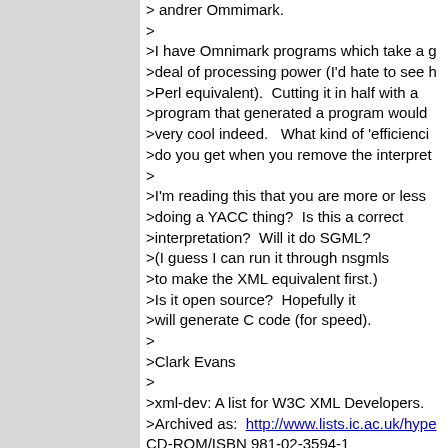> 
>I have Omnimark programs which take a g
>deal of processing power (I'd hate to see h
>Perl equivalent).  Cutting it in half with a
>program that generated a program would
>very cool indeed.   What kind of 'efficienci
>do you get when you remove the interpret
>
>I'm reading this that you are more or less
>doing a YACC thing?  Is this a correct
>interpretation?  Will it do SGML?
>(I guess I can run it through nsgmls
>to make the XML equivalent first.)
>Is it open source?  Hopefully it
>will generate C code (for speed).
>
>Clark Evans
>
>xml-dev: A list for W3C XML Developers.
>Archived as:  http://www.lists.ic.ac.uk/hype
CD-ROM/ISBN 981-02-3594-1
>To (un)subscribe,  mailto:majordomo@ic.a
>(un)subscribe xml-dev
>To subscribe to the digests,  mailto:majord
>subscribe xml-dev-digest